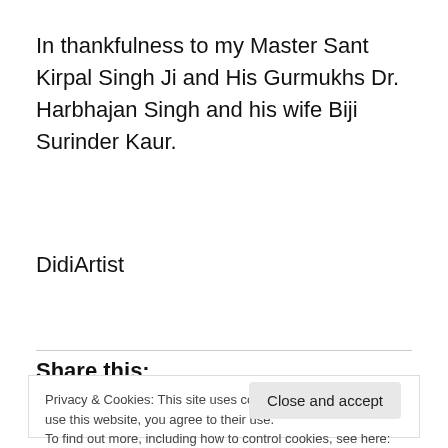In thankfulness to my Master Sant Kirpal Singh Ji and His Gurmukhs Dr. Harbhajan Singh and his wife Biji Surinder Kaur.
DidiArtist
Share this:
Privacy & Cookies: This site uses cookies. By continuing to use this website, you agree to their use.
To find out more, including how to control cookies, see here: Cookie Policy